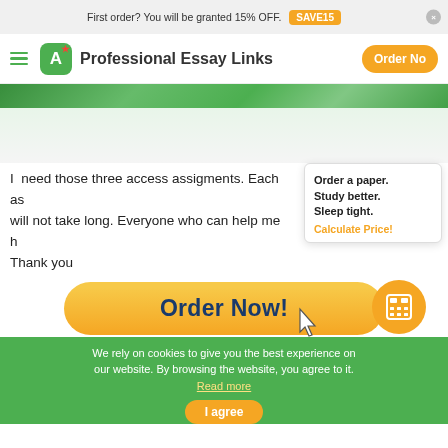First order? You will be granted 15% OFF.  SAVE15
Professional Essay Links  Order Now
[Figure (screenshot): Green decorative gradient banner strip]
I need those three access assigments. Each as will not take long. Everyone who can help me h Thank you
Order a paper. Study better. Sleep tight. Calculate Price!
[Figure (other): Order Now! button with calculator icon circle]
We rely on cookies to give you the best experience on our website. By browsing the website, you agree to it. Read more
I agree